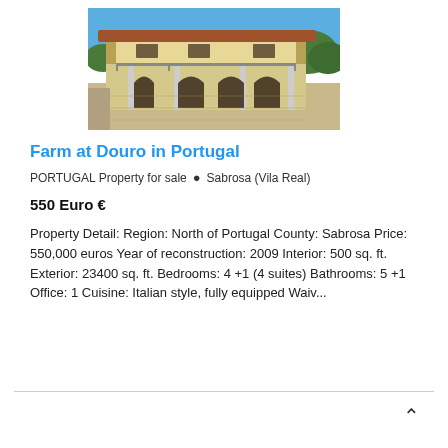[Figure (photo): Two-story farmhouse with arched windows on the ground floor and balcony on the upper floor, yellow rendered walls with terracotta roof]
Farm at Douro in Portugal
PORTUGAL Property for sale  📍 Sabrosa (Vila Real)
550 Euro €
Property Detail: Region: North of Portugal County: Sabrosa Price: 550,000 euros Year of reconstruction: 2009 Interior: 500 sq. ft. Exterior: 23400 sq. ft. Bedrooms: 4 +1 (4 suites) Bathrooms: 5 +1 Office: 1 Cuisine: Italian style, fully equipped Waiv...